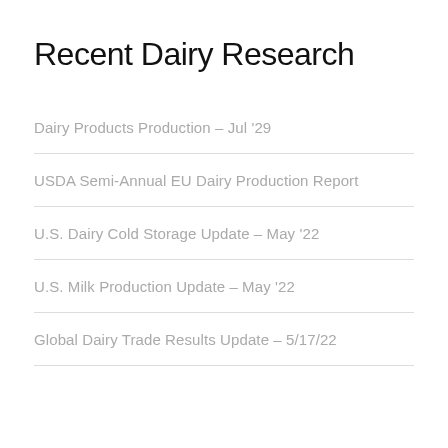Recent Dairy Research
Dairy Products Production – Jul '29
USDA Semi-Annual EU Dairy Production Report
U.S. Dairy Cold Storage Update – May '22
U.S. Milk Production Update – May '22
Global Dairy Trade Results Update – 5/17/22